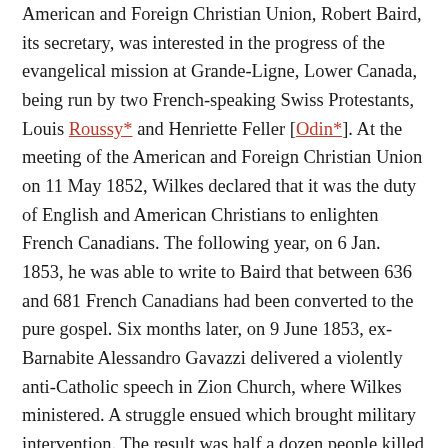American and Foreign Christian Union, Robert Baird, its secretary, was interested in the progress of the evangelical mission at Grande-Ligne, Lower Canada, being run by two French-speaking Swiss Protestants, Louis Roussy* and Henriette Feller [Odin*]. At the meeting of the American and Foreign Christian Union on 11 May 1852, Wilkes declared that it was the duty of English and American Christians to enlighten French Canadians. The following year, on 6 Jan. 1853, he was able to write to Baird that between 636 and 681 French Canadians had been converted to the pure gospel. Six months later, on 9 June 1853, ex-Barnabite Alessandro Gavazzi delivered a violently anti-Catholic speech in Zion Church, where Wilkes ministered. A struggle ensued which brought military intervention. The result was half a dozen people killed and some 50 wounded. A moderate man, Wilkes had certainly not foreseen this outburst of popular passion.
The remainder of his career unfolded peacefully. In 1850 he had received the degree of THD from the University of Vermont, which had a strong Congregational tradition. McGill College in its